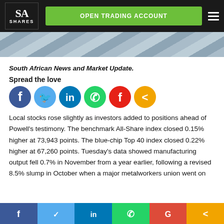[Figure (logo): SA Shares logo with white text on dark background]
[Figure (photo): Partial hero/banner image with abstract blurred background]
South African News and Market Update.
Spread the love
[Figure (infographic): Social sharing icons: Facebook, Twitter, LinkedIn, WhatsApp, Flipboard, Share (orange)]
Local stocks rose slightly as investors added to positions ahead of Powell's testimony. The benchmark All-Share index closed 0.15% higher at 73,943 points. The blue-chip Top 40 index closed 0.22% higher at 67,260 points. Tuesday's data showed manufacturing output fell 0.7% in November from a year earlier, following a revised 8.5% slump in October when a major metalworkers union went on
[Figure (infographic): Bottom social sharing bar: Facebook (blue), Twitter (light blue), LinkedIn (dark blue), WhatsApp (green), Google (red), Share (orange)]